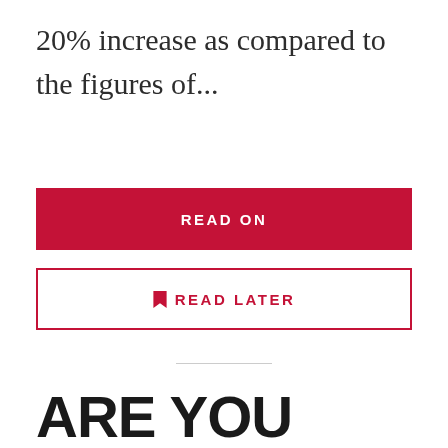20% increase as compared to the figures of...
[Figure (other): Red filled button with white text reading READ ON]
[Figure (other): White outlined button with red text and bookmark icon reading READ LATER]
ARE YOU